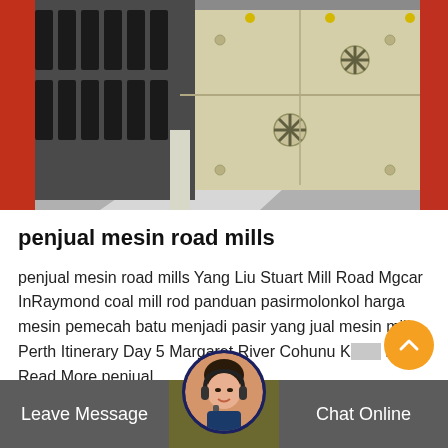[Figure (photo): Industrial machinery photo showing large vibrating screen or conveyor equipment — cream/beige colored metal panels with star-shaped bolts, red and dark metal frame parts, on a warehouse floor]
penjual mesin road mills
penjual mesin road mills Yang Liu Stuart Mill Road Mgcar InRaymond coal mill rod panduan pasirmolonkol harga mesin pemecah batu menjadi pasir yang jual mesin mill Perth Itinerary Day 5 Margaret River Cohunu Koala Park Read More penjual.
Leave Message  Chat Online